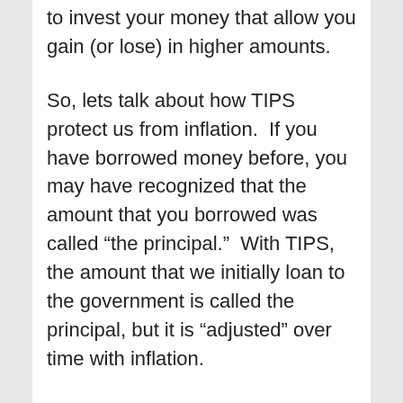to invest your money that allow you gain (or lose) in higher amounts.
So, lets talk about how TIPS protect us from inflation.  If you have borrowed money before, you may have recognized that the amount that you borrowed was called “the principal.”  With TIPS, the amount that we initially loan to the government is called the principal, but it is “adjusted” over time with inflation.
For instance, if I loan the government $1000 using a TIPS, and the inflation rate is 3% and a year goes by, your principal